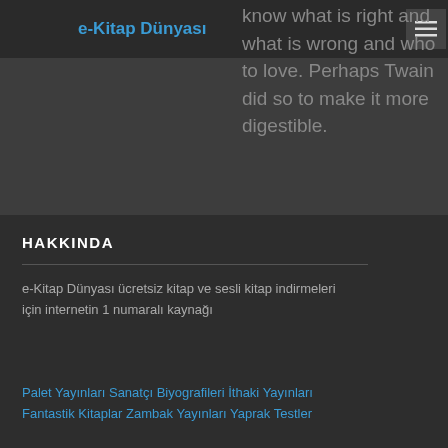e-Kitap Dünyası
know what is right and what is wrong and who to love. Perhaps Twain did so to make it more digestible.
HAKKINDA
e-Kitap Dünyası ücretsiz kitap ve sesli kitap indirmeleri için internetin 1 numaralı kaynağı
Palet Yayınları Sanatçı Biyografileri İthaki Yayınları Fantastik Kitaplar Zambak Yayınları Yaprak Testler